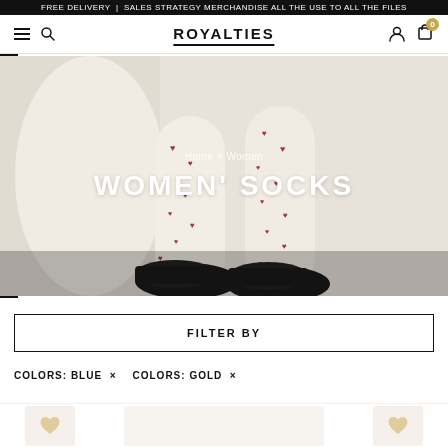FREE DELIVERY (SALES STRATEGY MERCHANDISE ALL THE USE TO ALL THE FILES)
ROYALTIES
[Figure (photo): Hero banner showing legs wearing cream/ivory socks with red heart pattern, paired with black loafers, on a light beige background]
Home > Women
WOMEN' SOCKS
FILTER BY
COLORS: BLUE ×
COLORS: GOLD ×